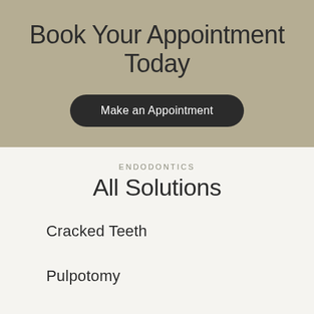Book Your Appointment Today
Make an Appointment
ENDODONTICS
All Solutions
Cracked Teeth
Pulpotomy